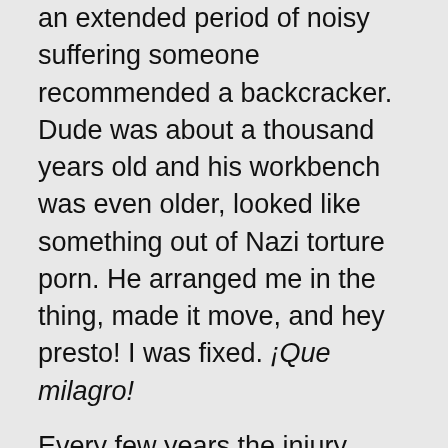an extended period of noisy suffering someone recommended a backcracker. Dude was about a thousand years old and his workbench was even older, looked like something out of Nazi torture porn. He arranged me in the thing, made it move, and hey presto! I was fixed. ¡Que milagro!
Every few years the injury revives itself, almost always when I can least afford to be crippled up. The right side of the pelvis comes up and forward; my right leg ends up shorter than the left, which loses strength; other muscles get drafted into the war effort, which extends into the left upper back as the torso twists; and the whole deal feels not unlike the tortures of the damned